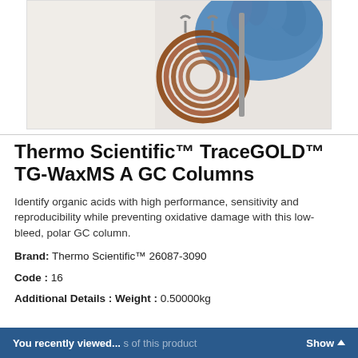[Figure (photo): A person in a white lab coat and blue gloves handling a coiled copper/brown capillary GC column with metal clips on a rack.]
Thermo Scientific™ TraceGOLD™ TG-WaxMS A GC Columns
Identify organic acids with high performance, sensitivity and reproducibility while preventing oxidative damage with this low-bleed, polar GC column.
Brand:  Thermo Scientific™ 26087-3090
Code : 16
Additional Details : Weight : 0.50000kg
You recently viewed...  s of this product    Show ▲